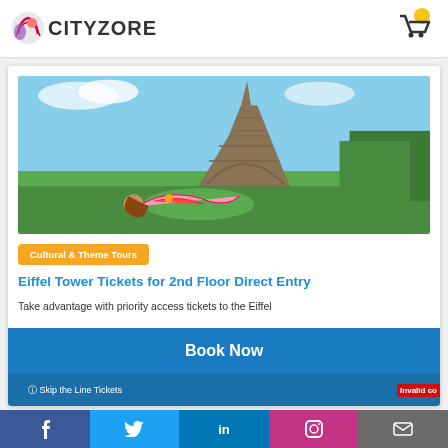CITYZORE
[Figure (photo): Photo of a woman lying on green grass in front of the Eiffel Tower, Paris, with blue sky in the background]
Cultural & Theme Tours
Eiffel Tower Tickets for 2nd Floor Direct Entry
Take advantage with priority access tickets to the Eiffel
Book Now
Skip the Line Tickets
f  Twitter  in  Instagram  Mail